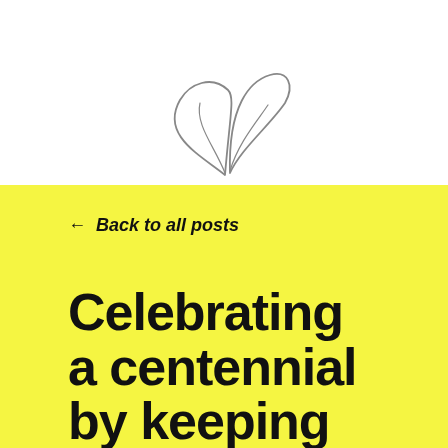[Figure (illustration): A hand-drawn sketch of two overlapping leaf or wing shapes in pencil/gray outline, positioned at the top center of the page above the yellow background section.]
← Back to all posts
Celebrating a centennial by keeping in step with